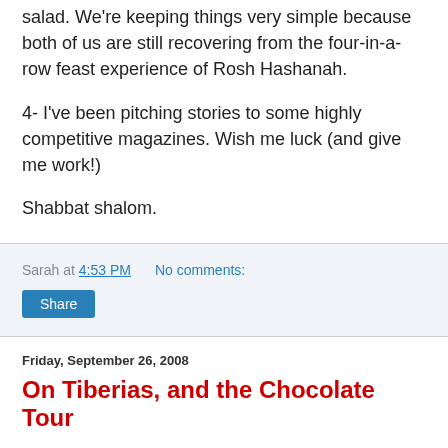salad. We're keeping things very simple because both of us are still recovering from the four-in-a-row feast experience of Rosh Hashanah.
4- I've been pitching stories to some highly competitive magazines. Wish me luck (and give me work!)
Shabbat shalom.
Sarah at 4:53 PM    No comments:
Share
Friday, September 26, 2008
On Tiberias, and the Chocolate Tour
I've got two articles in the "Israel Travel" supplement of The Jewish Week this week.
For some reason they are formatted badly online. Don't